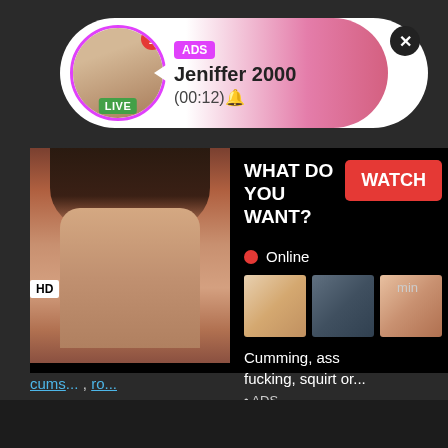[Figure (screenshot): Adult live stream popup notification with avatar, LIVE badge, ADS tag, username Jeniffer 2000, timer (00:12), pink gradient background, close button]
[Figure (screenshot): Adult advertisement banner showing photo on left, right panel with WHAT DO YOU WANT? text, WATCH button, Online indicator, thumbnail images, text: Cumming, ass fucking, squirt or... • ADS]
cums... , ro...
[Figure (screenshot): Dark gray/black empty area at bottom of page]